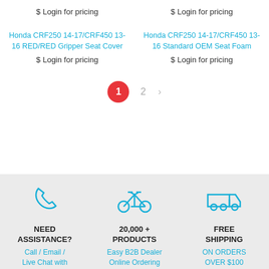$ Login for pricing
$ Login for pricing
Honda CRF250 14-17/CRF450 13-16 RED/RED Gripper Seat Cover
Honda CRF250 14-17/CRF450 13-16 Standard OEM Seat Foam
$ Login for pricing
$ Login for pricing
1  2  >
[Figure (illustration): Phone icon in cyan/blue]
NEED ASSISTANCE?
Call / Email / Live Chat with
[Figure (illustration): Bicycle icon in cyan/blue]
20,000 + PRODUCTS
Easy B2B Dealer Online Ordering
[Figure (illustration): Delivery truck icon in cyan/blue]
FREE SHIPPING
ON ORDERS OVER $100